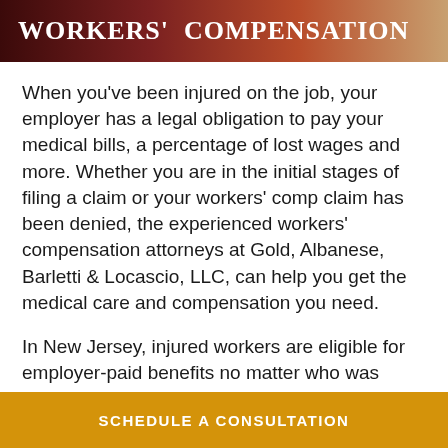Workers' Compensation
When you've been injured on the job, your employer has a legal obligation to pay your medical bills, a percentage of lost wages and more. Whether you are in the initial stages of filing a claim or your workers' comp claim has been denied, the experienced workers' compensation attorneys at Gold, Albanese, Barletti & Locascio, LLC, can help you get the medical care and compensation you need.
In New Jersey, injured workers are eligible for employer-paid benefits no matter who was responsible for an accident. Although fault for your injuries does not need to be determined, the basis of the claim itself does. This can be
SCHEDULE A CONSULTATION